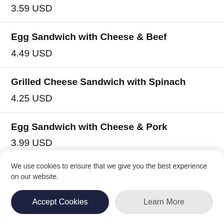3.59 USD
Egg Sandwich with Cheese & Beef
4.49 USD
Grilled Cheese Sandwich with Spinach
4.25 USD
Egg Sandwich with Cheese & Pork
3.99 USD
We use cookies to ensure that we give you the best experience on our website.